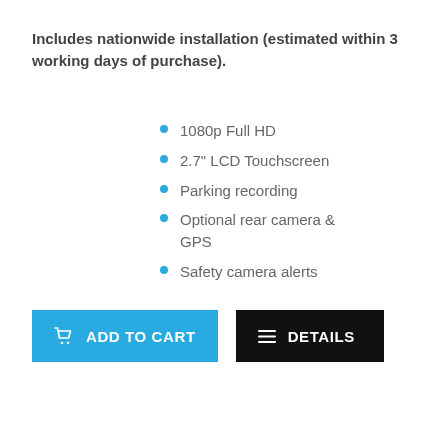Includes nationwide installation (estimated within 3 working days of purchase).
1080p Full HD
2.7" LCD Touchscreen
Parking recording
Optional rear camera & GPS
Safety camera alerts